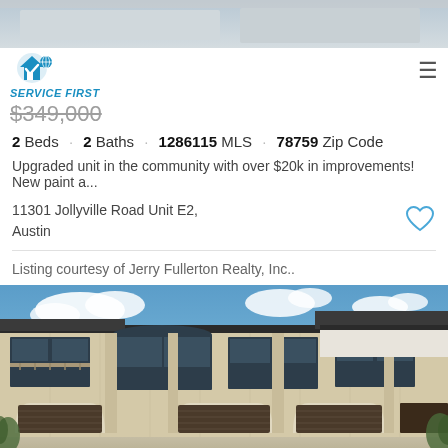[Figure (photo): Top banner photo of property exterior, partially visible]
[Figure (logo): Service First Realty logo with blue house/checkmark icon and italic blue text SERVICE FIRST]
$349,000
2 Beds · 2 Baths · 1286115 MLS · 78759 Zip Code
Upgraded unit in the community with over $20k in improvements! New paint a...
11301 Jollyville Road Unit E2,
Austin
Listing courtesy of Jerry Fullerton Realty, Inc..
[Figure (photo): Exterior photo of a tan/beige stone multi-story condominium building with dark brown garage doors, arched entrances, and blue sky with clouds in background]